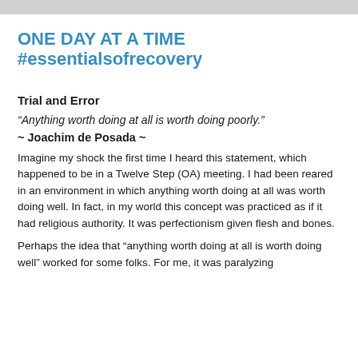ONE DAY AT A TIME
#essentialsofrecovery
Trial and Error
“Anything worth doing at all is worth doing poorly.”
~ Joachim de Posada ~
Imagine my shock the first time I heard this statement, which happened to be in a Twelve Step (OA) meeting. I had been reared in an environment in which anything worth doing at all was worth doing well. In fact, in my world this concept was practiced as if it had religious authority. It was perfectionism given flesh and bones.
Perhaps the idea that “anything worth doing at all is worth doing well” worked for some folks. For me, it was paralyzing